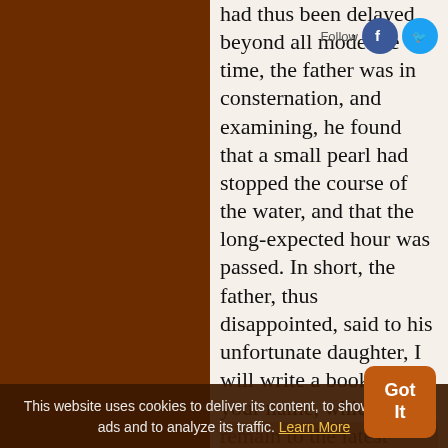had thus been delayed beyond all moderate time, the father was in consternation, and examining, he found that a small pearl had stopped the course of the water, and that the long-expected hour was passed. In short, the father, thus disappointed, said to his unfortunate daughter, I will write a book of your name, which shall remain to the latest times for a good name, is a second life, and the ground-work of eternal existence.
This website uses cookies to deliver its content, to show relevant ads and to analyze its traffic. Learn More